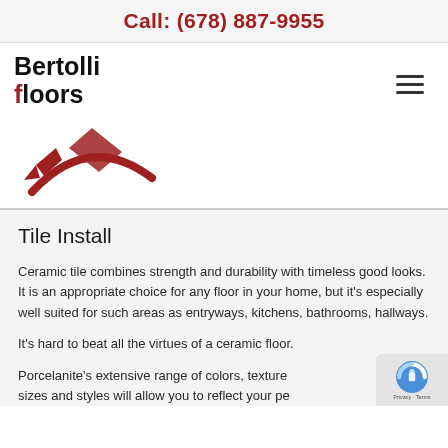Call: (678) 887-9955
[Figure (logo): Bertolli Floors logo with red tile graphic and company name]
Tile Install
Ceramic tile combines strength and durability with timeless good looks. It is an appropriate choice for any floor in your home, but it’s especially well suited for such areas as entryways, kitchens, bathrooms, hallways.
It’s hard to beat all the virtues of a ceramic floor.
Porcelanite’s extensive range of colors, textures, sizes and styles will allow you to reflect your personal